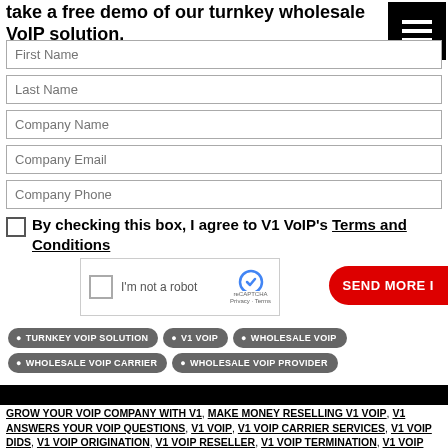take a free demo of our turnkey wholesale VoIP solution.
[Figure (other): Hamburger menu icon (three white horizontal lines on black background)]
First Name (form field)
Last Name (form field)
Company Name (form field)
Company Email (form field)
Company Phone (form field)
By checking this box, I agree to V1 VoIP's Terms and Conditions
[Figure (other): reCAPTCHA widget with checkbox and 'I'm not a robot' text]
SEND MORE I...
TURNKEY VOIP SOLUTION
V1 VOIP
WHOLESALE VOIP
WHOLESALE VOIP CARRIER
WHOLESALE VOIP PROVIDER
GROW YOUR VOIP COMPANY WITH V1, MAKE MONEY RESELLING V1 VOIP, V1 ANSWERS YOUR VOIP QUESTIONS, V1 VOIP, V1 VOIP CARRIER SERVICES, V1 VOIP DIDS, V1 VOIP ORIGINATION, V1 VOIP RESELLER, V1 VOIP TERMINATION, V1 VOIP WHOLESALE